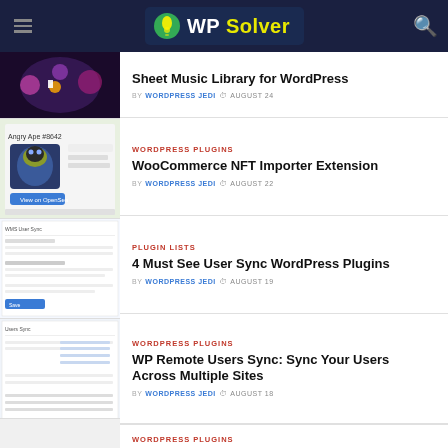WP Solver
Sheet Music Library for WordPress
BY WORDPRESS JEDI  AUGUST 24
WORDPRESS PLUGINS
WooCommerce NFT Importer Extension
BY WORDPRESS JEDI  AUGUST 22
PLUGIN LISTS
4 Must See User Sync WordPress Plugins
BY WORDPRESS JEDI  AUGUST 19
WORDPRESS PLUGINS
WP Remote Users Sync: Sync Your Users Across Multiple Sites
BY WORDPRESS JEDI  AUGUST 18
WORDPRESS PLUGINS